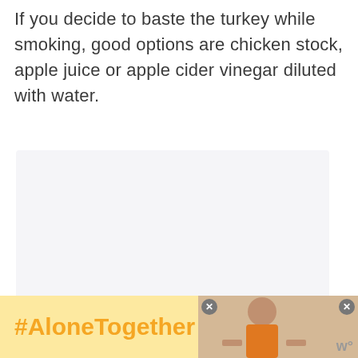If you decide to baste the turkey while smoking, good options are chicken stock, apple juice or apple cider vinegar diluted with water.
[Figure (photo): Large light gray/white empty image area placeholder for a food photo]
[Figure (infographic): UI overlay with heart/like button (teal circle with heart icon), count label '7.1K', and share button (white circle with share icon)]
[Figure (photo): Advertisement banner with '#AloneTogether' hashtag in orange on yellow background, and a photo of a woman at a kitchen table on the right side with close buttons]